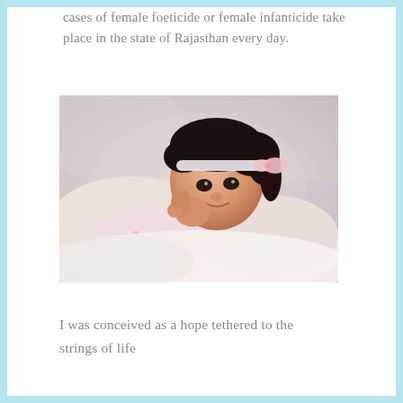cases of female foeticide or female infanticide take place in the state of Rajasthan every day.
[Figure (photo): A newborn baby girl with dark hair wearing a white headband with a pink bow, wrapped in a pink and white patterned blanket, lying on a white surface.]
I was conceived as a hope tethered to the
strings of life